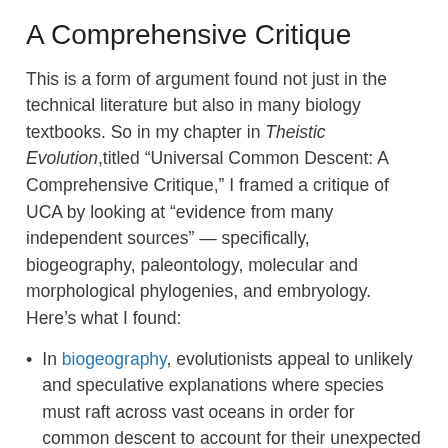A Comprehensive Critique
This is a form of argument found not just in the technical literature but also in many biology textbooks. So in my chapter in Theistic Evolution,titled “Universal Common Descent: A Comprehensive Critique,” I framed a critique of UCA by looking at “evidence from many independent sources” — specifically, biogeography, paleontology, molecular and morphological phylogenies, and embryology. Here’s what I found:
In biogeography, evolutionists appeal to unlikely and speculative explanations where species must raft across vast oceans in order for common descent to account for their unexpected locations.